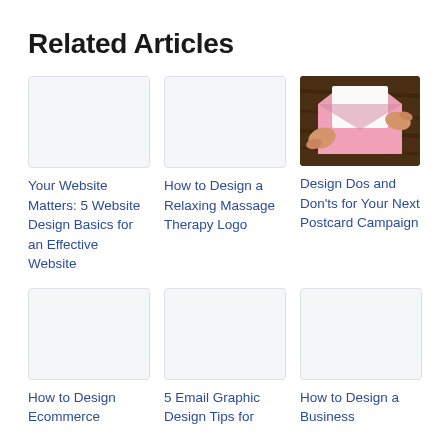Related Articles
[Figure (illustration): Blank white thumbnail placeholder for article 1]
Your Website Matters: 5 Website Design Basics for an Effective Website
[Figure (illustration): Blank white thumbnail placeholder for article 2]
How to Design a Relaxing Massage Therapy Logo
[Figure (photo): Photo of hands opening a pink envelope]
Design Dos and Don'ts for Your Next Postcard Campaign
[Figure (illustration): Blank white thumbnail placeholder for article 4]
How to Design Ecommerce
[Figure (illustration): Blank white thumbnail placeholder for article 5]
5 Email Graphic Design Tips for
[Figure (illustration): Blank white thumbnail placeholder for article 6]
How to Design a Business